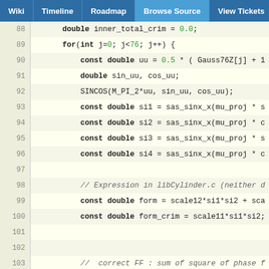Wiki | Timeline | Roadmap | Browse Source | View Tickets | Search
[Figure (screenshot): Source code browser showing C++ code lines 88-112 with line numbers, syntax highlighting for keywords (bold), numeric literals (green), and comments (gray italic). Navigation bar at top with tabs: Wiki, Timeline, Roadmap, Browse Source (active), View Tickets, Search.]